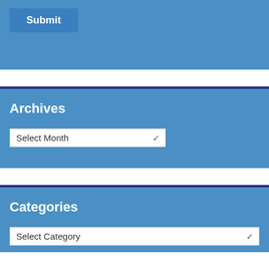[Figure (screenshot): Top blue widget block with a Submit button]
Archives
[Figure (screenshot): Archives widget with Select Month dropdown]
Categories
[Figure (screenshot): Categories widget with Select Category dropdown]